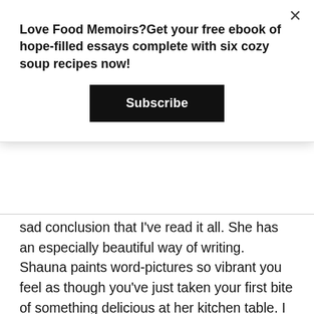Love Food Memoirs?Get your free ebook of hope-filled essays complete with six cozy soup recipes now!
Subscribe
sad conclusion that I've read it all. She has an especially beautiful way of writing. Shauna paints word-pictures so vibrant you feel as though you've just taken your first bite of something delicious at her kitchen table. I love that. One of my favorite things to write about is food and people, therefore her books inspire me on a very personal level.
[Figure (photo): A book titled '365 Devotions' lying on a dark navy and cream patterned knit fabric background]